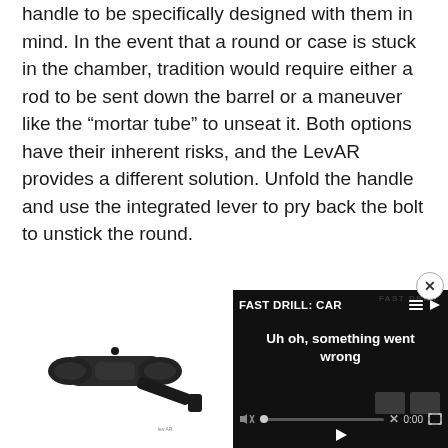handle to be specifically designed with them in mind. In the event that a round or case is stuck in the chamber, tradition would require either a rod to be sent down the barrel or a maneuver like the “mortar tube” to unseat it. Both options have their inherent risks, and the LevAR provides a different solution. Unfold the handle and use the integrated lever to pry back the bolt to unstick the round.
[Figure (photo): A black AR-15 charging handle (LevAR) photographed on a white background, showing the lever mechanism extended.]
[Figure (screenshot): Video player overlay showing an error state. Title reads 'FAST DRILL: CAR' with a hamburger menu and arrow icon. Error message says 'Uh oh, something went wrong'. Controls show mute icon, progress bar with dot at start, X mark, 0:00 timecode, and fullscreen button. Background watermark text 'FAST DRILL' visible.]